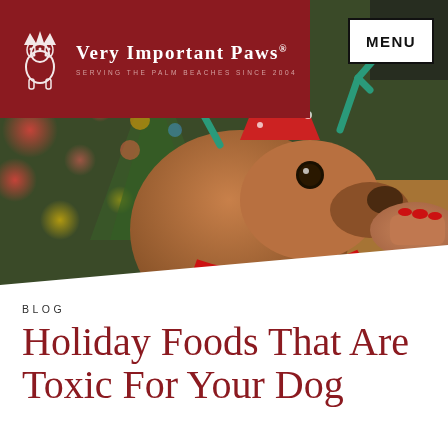Very Important Paws® — Serving the Palm Beaches Since 2004
[Figure (photo): A dachshund dog wearing reindeer antlers and a red party hat being hand-fed a treat, with a blurred Christmas tree with bokeh lights in the background. A person with red fingernails is offering the treat.]
BLOG
Holiday Foods That Are Toxic For Your Dog